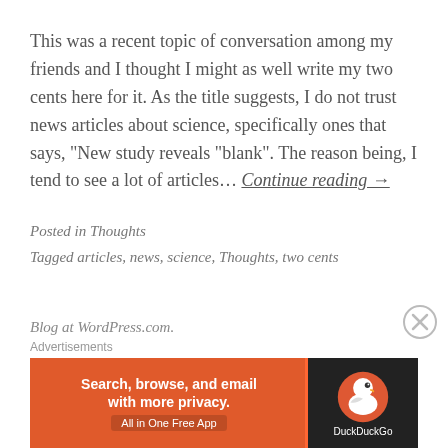This was a recent topic of conversation among my friends and I thought I might as well write my two cents here for it. As the title suggests, I do not trust news articles about science, specifically ones that says, “New study reveals “blank”. The reason being, I tend to see a lot of articles… Continue reading →
Posted in Thoughts
Tagged articles, news, science, Thoughts, two cents
Blog at WordPress.com.
[Figure (other): DuckDuckGo advertisement banner: orange background on left with text 'Search, browse, and email with more privacy. All in One Free App', dark background on right with DuckDuckGo logo and name.]